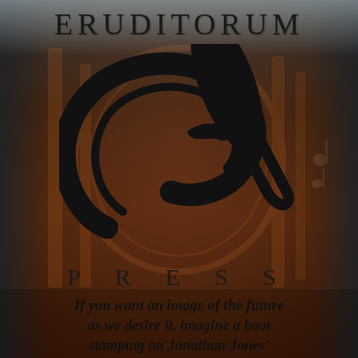[Figure (logo): Eruditorum Press logo: dark background with reddish-brown architectural/figural imagery, a large stylized 'EP' monogram in black, text 'ERUDITORUM' at top and 'PRESS' below the monogram]
ERUDITORUM
P R E S S
If you want an image of the future as we desire it, imagine a boot stamping on Jonathan Jones' face... forever